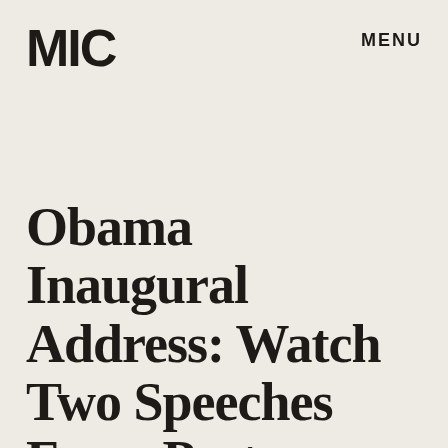MIC
MENU
Obama Inaugural Address: Watch Two Speeches From Past Presidents to Get Ready